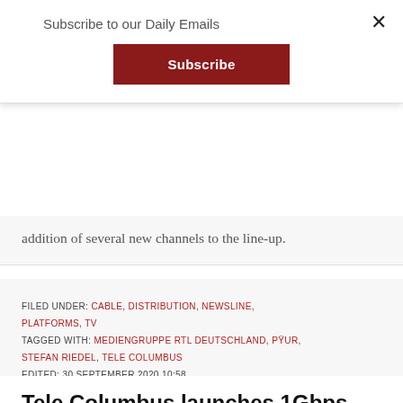Subscribe to our Daily Emails
Subscribe
addition of several new channels to the line-up.
FILED UNDER: CABLE, DISTRIBUTION, NEWSLINE, PLATFORMS, TV
TAGGED WITH: MEDIENGRUPPE RTL DEUTSCHLAND, PYUR, STEFAN RIEDEL, TELE COLUMBUS
EDITED: 30 SEPTEMBER 2020 10:58
Tele Columbus launches 1Gbps internet in Berlin